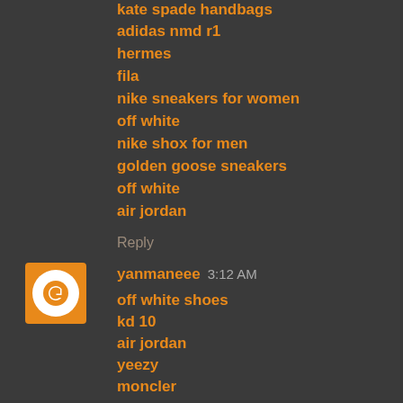kate spade handbags
adidas nmd r1
hermes
fila
nike sneakers for women
off white
nike shox for men
golden goose sneakers
off white
air jordan
Reply
yanmaneee  3:12 AM
off white shoes
kd 10
air jordan
yeezy
moncler
kd shoes
supreme t shirt
longchamp